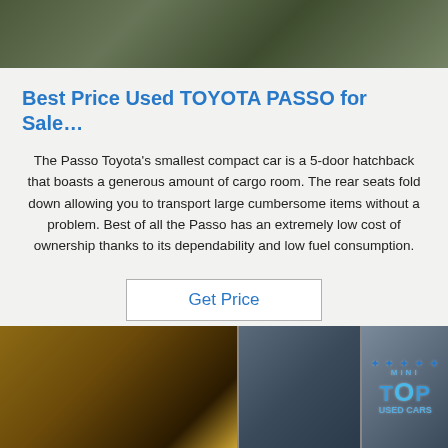[Figure (photo): Top photo strip showing car interior or exterior in dark tones]
Best Price Used TOYOTA PASSO for Sale…
The Passo Toyota's smallest compact car is a 5-door hatchback that boasts a generous amount of cargo room. The rear seats fold down allowing you to transport large cumbersome items without a problem. Best of all the Passo has an extremely low cost of ownership thanks to its dependability and low fuel consumption.
Get Price
[Figure (photo): Bottom photo strip showing car parts/machinery interior views split into three panels with TOP logo visible on right panel]